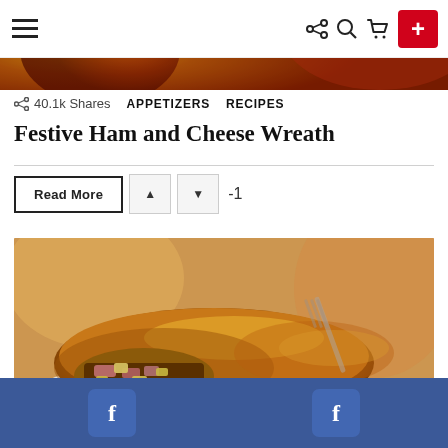Navigation bar with hamburger menu, share, search, cart icons, and red + button
[Figure (photo): Top food photo strip showing partial red/orange food image]
40.1k Shares   APPETIZERS   RECIPES
Festive Ham and Cheese Wreath
Read More  ▲  ▼  -1
[Figure (photo): Close-up photo of a Festive Ham and Cheese Wreath pastry on a white plate, golden-brown flaky crust with ham and cheese filling visible, fork in background with blurred orange and soft background colors]
Facebook share buttons bar